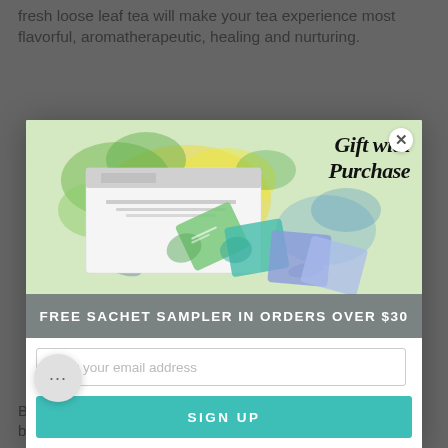fresh loose leaf tea will make your tea experience most flavorful, aromatherapeutic, healing and nurturing.
[Figure (photo): Modal popup showing a tea sachet sampler gift box with colorful watercolor-style packaging, sachets fanning out. Text overlay reads 'Gift with Purchase'. Banner reads 'FREE SACHET SAMPLER IN ORDERS OVER $30'.]
FREE SACHET SAMPLER IN ORDERS OVER $30
Enter your email address
SIGN UP
Bo... High Lawn, as part of the Hanuman Yoga Festival. We'll be there from 9 AM – 7 PM Friday and